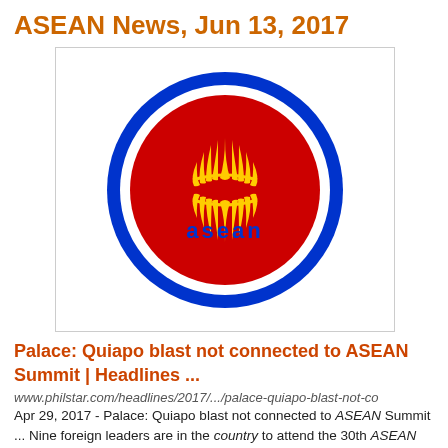ASEAN News, Jun 13, 2017
[Figure (logo): ASEAN logo: blue ring with white border, red circle, yellow sheaf/fan emblem in center, 'asean' text in blue at bottom of circle]
Palace: Quiapo blast not connected to ASEAN Summit | Headlines ...
www.philstar.com/headlines/2017/.../palace-quiapo-blast-not-co
Apr 29, 2017 - Palace: Quiapo blast not connected to ASEAN Summit ... Nine foreign leaders are in the country to attend the 30th ASEAN Summit in Manila...